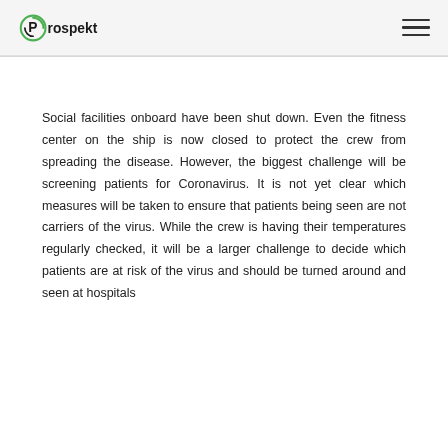Prospekt
Social facilities onboard have been shut down. Even the fitness center on the ship is now closed to protect the crew from spreading the disease. However, the biggest challenge will be screening patients for Coronavirus. It is not yet clear which measures will be taken to ensure that patients being seen are not carriers of the virus. While the crew is having their temperatures regularly checked, it will be a larger challenge to decide which patients are at risk of the virus and should be turned around and seen at hospitals